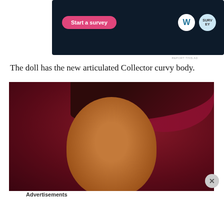[Figure (screenshot): Advertisement banner with dark navy background showing a 'Start a survey' pink button and WordPress logo with another circular logo on the right]
The doll has the new articulated Collector curvy body.
[Figure (photo): Close-up photo of a Barbie doll face with dark skin tone, dramatic eye makeup, gold earrings, burgundy/maroon hair wrap, against a dark red background]
Advertisements
[Figure (screenshot): Victoria's Secret advertisement banner with pink background showing 'SHOP THE COLLECTION' text and 'SHOP NOW' button]